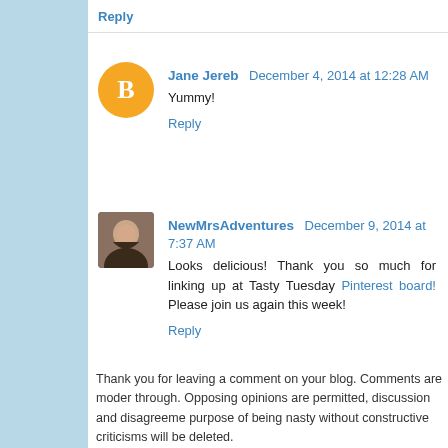Reply
Jane Jereb  December 4, 2014 at 12:28 AM
Yummy!
Reply
NewMrsAdventures  December 9, 2014 at 7:37 AM
Looks delicious! Thank you so much for linking up at Tasty Tuesday Pinterest board! Please join us again this week!
Reply
Thank you for leaving a comment on your blog. Comments are moderated through. Opposing opinions are permitted, discussion and disagreement purpose of being nasty without constructive criticisms will be deleted. Just a note- I take my privacy seriously, and comments giving away m